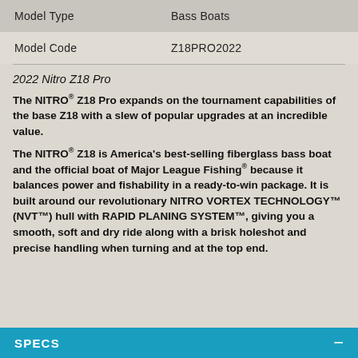| Model Type | Bass Boats |
| Model Code | Z18PRO2022 |
2022 Nitro Z18 Pro
The NITRO® Z18 Pro expands on the tournament capabilities of the base Z18 with a slew of popular upgrades at an incredible value.
The NITRO® Z18 is America's best-selling fiberglass bass boat and the official boat of Major League Fishing® because it balances power and fishability in a ready-to-win package. It is built around our revolutionary NITRO VORTEX TECHNOLOGY™ (NVT™) hull with RAPID PLANING SYSTEM™, giving you a smooth, soft and dry ride along with a brisk holeshot and precise handling when turning and at the top end.
SPECS